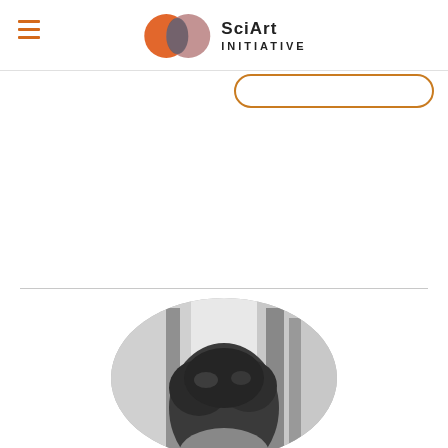[Figure (logo): SciArt Initiative logo with two overlapping circles (orange and mauve with grey overlap) and text 'SciArt Initiative']
[Figure (other): Menu hamburger icon with three horizontal orange lines on the left side of the header]
[Figure (other): Orange rounded rectangle search/input box outline in the upper right area]
[Figure (photo): Black and white circular-cropped photo of a person with dark curly hair, cropped at the bottom of the page, shot in what appears to be a corridor or laboratory setting]